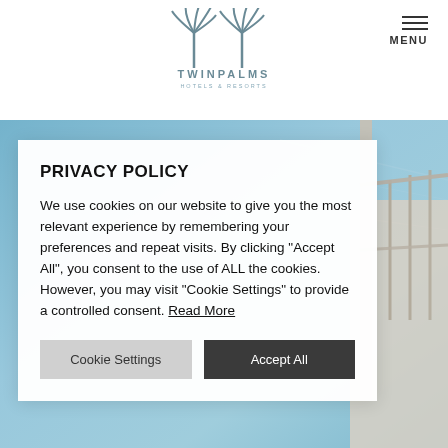[Figure (logo): TwinPalms Hotels & Resorts logo with two palm tree icons above the text]
[Figure (photo): Background photo of a boat deck railing with turquoise ocean water]
PRIVACY POLICY
We use cookies on our website to give you the most relevant experience by remembering your preferences and repeat visits. By clicking "Accept All", you consent to the use of ALL the cookies. However, you may visit "Cookie Settings" to provide a controlled consent. Read More